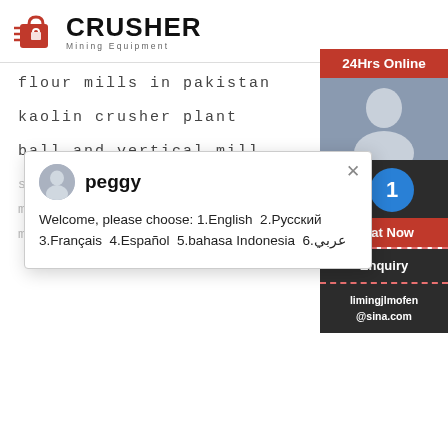[Figure (logo): Crusher Mining Equipment logo with red icon and bold black text]
flour mills in pakistan
kaolin crusher plant
ball and vertical mill
s [blurred text line]
m [blurred text line]
m [blurred text line]
[Figure (screenshot): Chat popup with avatar of peggy, close button X, and message: Welcome, please choose: 1.English 2.Русский 3.Français 4.Español 5.bahasa Indonesia 6.عربي]
[Figure (infographic): Right sidebar: 24Hrs Online red banner, photo of agent, Need & suggestions section, Chat Now button, Enquiry, limingjlmofen@sina.com, blue notification circle with number 1]